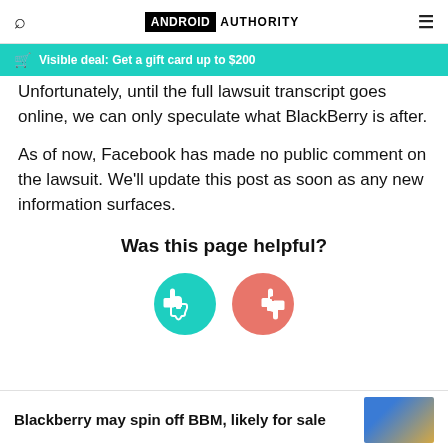Android Authority
Visible deal: Get a gift card up to $200
Unfortunately, until the full lawsuit transcript goes online, we can only speculate what BlackBerry is after.
As of now, Facebook has made no public comment on the lawsuit. We'll update this post as soon as any new information surfaces.
Was this page helpful?
[Figure (other): Thumbs up (green) and thumbs down (red/salmon) circular feedback buttons]
Blackberry may spin off BBM, likely for sale